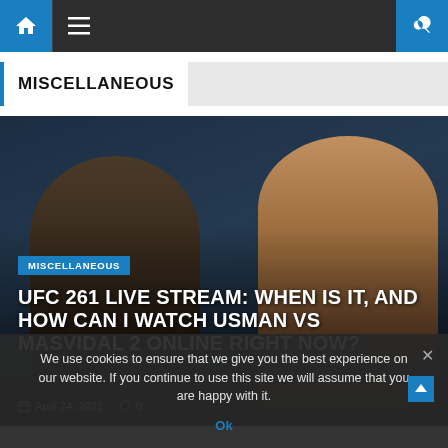Navigation bar with home, menu, and search icons
MISCELLANEOUS
[Figure (photo): UFC 261 promotional photo showing two MMA fighters facing the camera, one bald Black fighter and one bearded Hispanic fighter, against a dark arena background]
MISCELLANEOUS
UFC 261 LIVE STREAM: WHEN IS IT, AND HOW CAN I WATCH USMAN VS MASVIDAL 2 ONLINE RIGHT NOW?
April 24, 2021   0
We use cookies to ensure that we give you the best experience on our website. If you continue to use this site we will assume that you are happy with it.
Ok